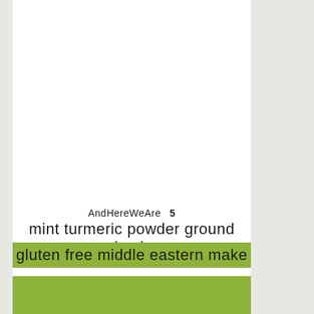AndHereWeAre   5
mint  turmeric powder  ground lamb
gluten free  middle eastern  make
[Figure (other): Green colored banner/bar element below the tag list]